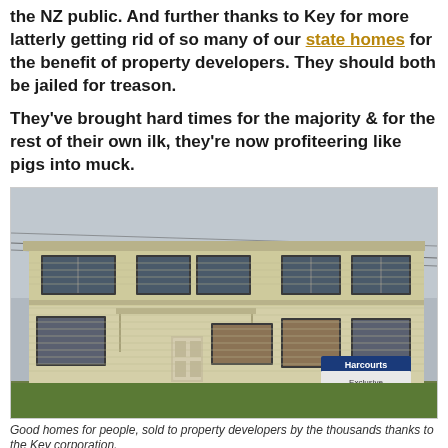the NZ public. And further thanks to Key for more latterly getting rid of so many of our state homes for the benefit of property developers. They should both be jailed for treason.

They've brought hard times for the majority & for the rest of their own ilk, they're now profiteering like pigs into muck.
[Figure (photo): A two-storey cream/beige weatherboard state house building with multiple units, boarded-up windows, a Harcourts Exclusive real estate sign in the front yard, overcast sky in the background.]
Good homes for people, sold to property developers by the thousands thanks to the Key corporation.